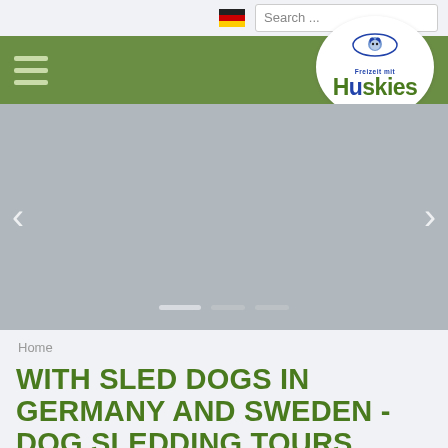[Figure (screenshot): Website screenshot of Freizeit mit Huskies dog sledding tour website. Top bar with German flag and search box, green navigation bar with hamburger menu and oval logo, gray image slider with navigation arrows and dots, breadcrumb 'Home', and large green title text.]
Search ...
[Figure (logo): Freizeit mit Huskies oval logo with husky dog illustration and green bold text 'Huskies']
Home
WITH SLED DOGS IN GERMANY AND SWEDEN - DOG SLEDDING TOURS